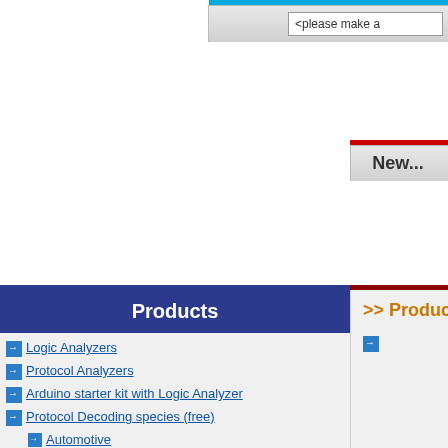<please make a
Software
New...
Products
>> Products
Logic Analyzers
Protocol Analyzers
Arduino starter kit with Logic Analyzer
Protocol Decoding species (free)
Automotive
PC System
IC Interface
Digital Audio